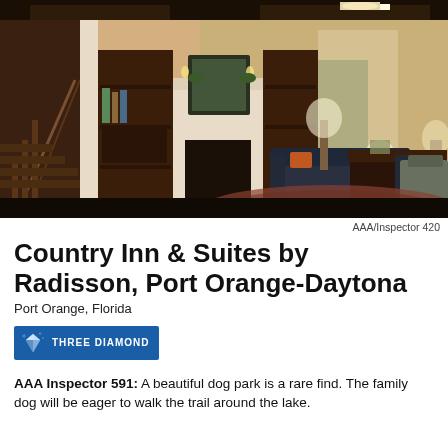[Figure (photo): Interior lobby photo of Country Inn & Suites showing fireplace, dark wood furniture, staircase, seating area with dark sofa, lamp, and patterned rug on dark hardwood floor.]
AAA/Inspector 420
Country Inn & Suites by Radisson, Port Orange-Daytona
Port Orange, Florida
[Figure (logo): THREE DIAMOND badge with diamond icon on blue background]
AAA Inspector 591: A beautiful dog park is a rare find. The family dog will be eager to walk the trail around the lake.